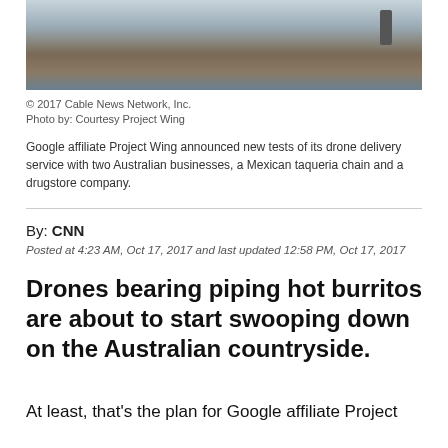[Figure (photo): Outdoor construction or compound scene with building structure, piled earth or mulch in foreground, and a person standing to the right. Blue sky visible.]
© 2017 Cable News Network, Inc.
Photo by: Courtesy Project Wing
Google affiliate Project Wing announced new tests of its drone delivery service with two Australian businesses, a Mexican taqueria chain and a drugstore company.
By: CNN
Posted at 4:23 AM, Oct 17, 2017 and last updated 12:58 PM, Oct 17, 2017
Drones bearing piping hot burritos are about to start swooping down on the Australian countryside.
At least, that's the plan for Google affiliate Project